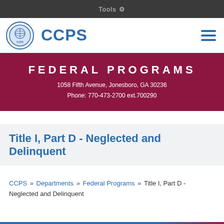Tools
[Figure (logo): CCPS logo circle with school emblem and text CCPS]
FEDERAL PROGRAMS
1058 Fifth Avenue, Jonesboro, GA 30236
Phone: 770-473-2700 ext.700290
Title I, Part D - Neglected and Delinquent
CCPS » Departments » Federal Programs » Title I, Part D - Neglected and Delinquent